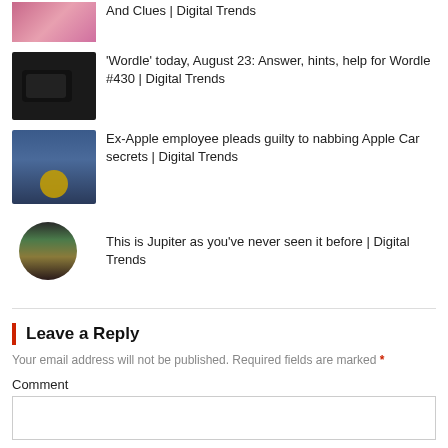And Clues | Digital Trends
'Wordle' today, August 23: Answer, hints, help for Wordle #430 | Digital Trends
Ex-Apple employee pleads guilty to nabbing Apple Car secrets | Digital Trends
This is Jupiter as you've never seen it before | Digital Trends
Leave a Reply
Your email address will not be published. Required fields are marked *
Comment